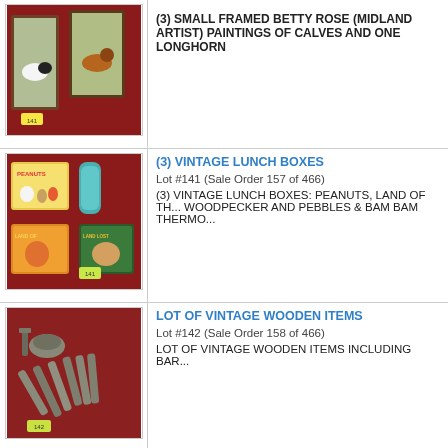[Figure (photo): Three small framed paintings of calves and one longhorn, displayed against a red background.]
(3) SMALL FRAMED BETTY ROSE (MIDLAND ARTIST) PAINTINGS OF CALVES AND ONE LONGHORN
(3) VINTAGE LUNCH BOXES
Lot #141 (Sale Order 157 of 466)
(3) VINTAGE LUNCH BOXES: PEANUTS, LAND OF THE LOST WITH WOODY WOODPECKER AND PEBBLES & BAM BAM THERMOS
[Figure (photo): Three vintage lunch boxes (Peanuts, Land of the Lost, Pebbles & Bam Bam) with a thermos, displayed on a red background. Yellow price tag labeled 141.]
LOT OF VINTAGE WOODEN ITEMS
Lot #142 (Sale Order 158 of 466)
LOT OF VINTAGE WOODEN ITEMS INCLUDING BARRELS AND MORE
[Figure (photo): Lot of vintage wooden items including barrel-shaped wooden pieces and dowels, displayed on a red background. Yellow price tag labeled 142.]